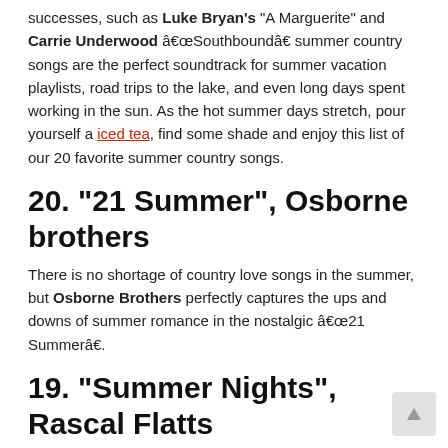successes, such as Luke Bryan's "A Marguerite" and Carrie Underwood “Southbound” summer country songs are the perfect soundtrack for summer vacation playlists, road trips to the lake, and even long days spent working in the sun. As the hot summer days stretch, pour yourself a iced tea, find some shade and enjoy this list of our 20 favorite summer country songs.
20. “21 Summer”, Osborne brothers
There is no shortage of country love songs in the summer, but Osborne Brothers perfectly captures the ups and downs of summer romance in the nostalgic “21 Summer”.
19. “Summer Nights”, Rascal Flatts
Written by Busbee, Brett James and Gary LeVox, Rascal Flatts’ “Summer Nights” celebrates the joys of nights spent with friends.